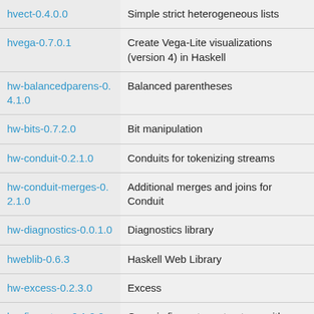| Package | Description |
| --- | --- |
| hvect-0.4.0.0 | Simple strict heterogeneous lists |
| hvega-0.7.0.1 | Create Vega-Lite visualizations (version 4) in Haskell |
| hw-balancedparens-0.4.1.0 | Balanced parentheses |
| hw-bits-0.7.2.0 | Bit manipulation |
| hw-conduit-0.2.1.0 | Conduits for tokenizing streams |
| hw-conduit-merges-0.2.1.0 | Additional merges and joins for Conduit |
| hw-diagnostics-0.0.1.0 | Diagnostics library |
| hweblib-0.6.3 | Haskell Web Library |
| hw-excess-0.2.3.0 | Excess |
| hw-fingertree-0.1.2.0 | Generic finger-tree structure, with examples and instances |